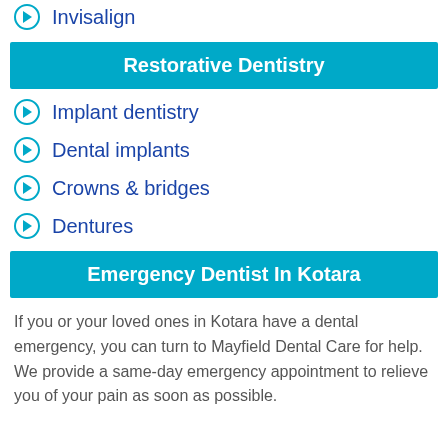Invisalign
Restorative Dentistry
Implant dentistry
Dental implants
Crowns & bridges
Dentures
Emergency Dentist In Kotara
If you or your loved ones in Kotara have a dental emergency, you can turn to Mayfield Dental Care for help. We provide a same-day emergency appointment to relieve you of your pain as soon as possible.